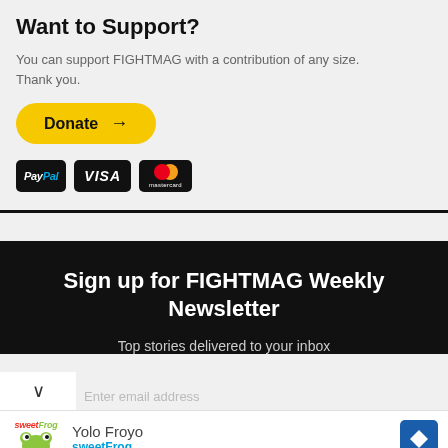Want to Support?
You can support FIGHTMAG with a contribution of any size. Thank you.
[Figure (illustration): Yellow donate button with arrow, and payment badges for PayPal, VISA, and Mastercard]
Sign up for FIGHTMAG Weekly Newsletter
Top stories delivered to your inbox
[Figure (screenshot): Email input row with chevron dropdown and email address field partially visible]
[Figure (illustration): Ad banner for Yolo Froyo by sweetFrog with navigation arrow icon]